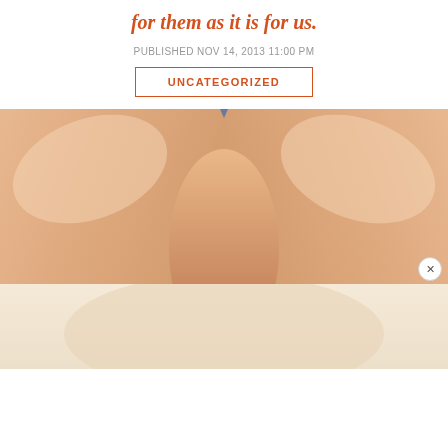for them as it is for us.
PUBLISHED NOV 14, 2013 11:00 PM
UNCATEGORIZED
[Figure (photo): Close-up photo of two hands/fingers pressed together holding a small green object, with a blue background behind the hands. A partial second image appears at the bottom showing a light-colored object.]